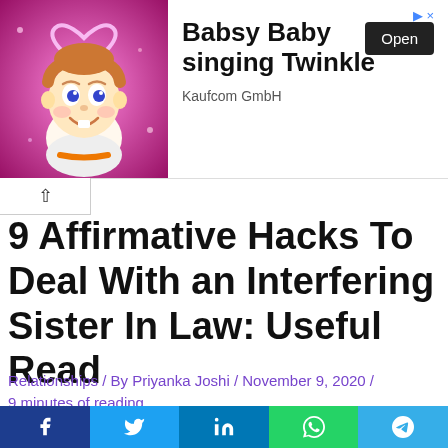[Figure (screenshot): Advertisement banner with cartoon baby on pink background, text 'Babsy Baby singing Twinkle', Kaufcom GmbH brand, and Open button]
9 Affirmative Hacks To Deal With an Interfering Sister In Law: Useful Read
Relationships / By Priyanka Joshi / November 9, 2020 / 9 minutes of reading
How to deal with interfering sister in law? Have you been exploiting yourself over this lately? How much is too much and when do you need to draw a line of control? Have you ever thought about it?